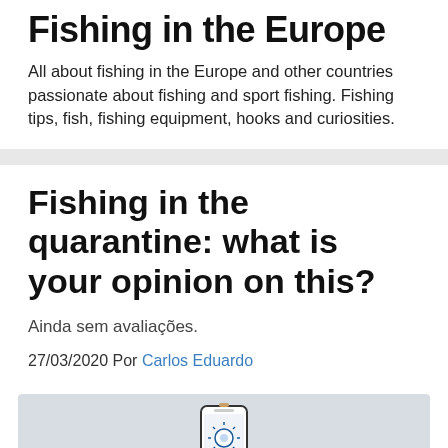Fishing in the Europe
All about fishing in the Europe and other countries passionate about fishing and sport fishing. Fishing tips, fish, fishing equipment, hooks and curiosities.
Fishing in the quarantine: what is your opinion on this? Ainda sem avaliações.
27/03/2020 Por Carlos Eduardo
[Figure (photo): A smartphone displaying a virus/coronavirus image, set against a light grey background]